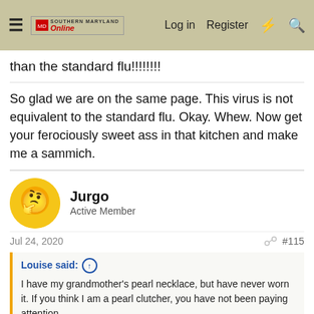Southern Maryland Online — Log in | Register
than the standard flu!!!!!!!!
So glad we are on the same page. This virus is not equivalent to the standard flu. Okay. Whew. Now get your ferociously sweet ass in that kitchen and make me a sammich.
Jurgo
Active Member
Jul 24, 2020
#115
Louise said: ↑
I have my grandmother's pearl necklace, but have never worn it. If you think I am a pearl clutcher, you have not been paying attention. 🌀 Thanks for the late nite laugh!
So glad you did not do a relatively deep google dive on the "pearl necklace" phrase (cosmopolitan has an result that